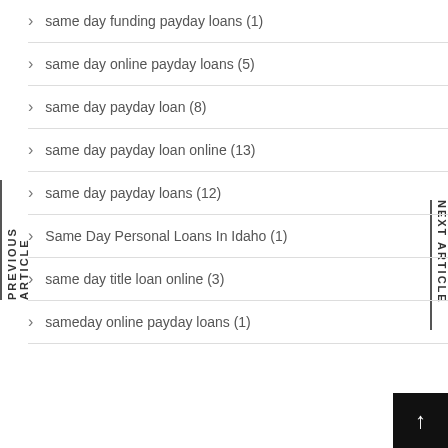same day funding payday loans (1)
same day online payday loans (5)
same day payday loan (8)
same day payday loan online (13)
same day payday loans (12)
Same Day Personal Loans In Idaho (1)
same day title loan online (3)
sameday online payday loans (1)